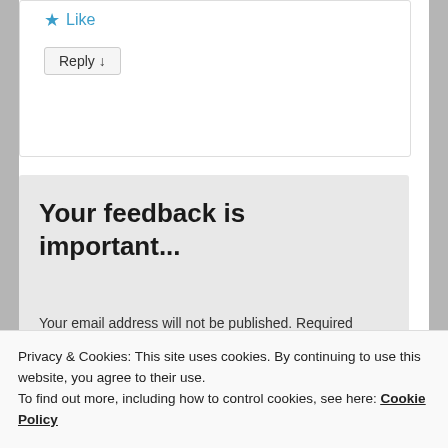[Figure (screenshot): Star icon followed by Like text in teal/blue color]
Reply ↓
Your feedback is important...
Your email address will not be published. Required fields are marked *
Privacy & Cookies: This site uses cookies. By continuing to use this website, you agree to their use.
To find out more, including how to control cookies, see here: Cookie Policy
Close and accept